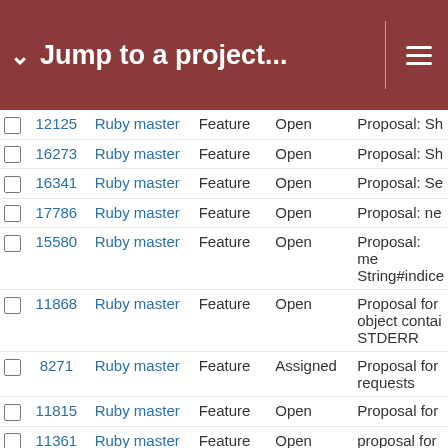Jump to a project...
|  | ID | Project | Type | Status | Description |
| --- | --- | --- | --- | --- | --- |
|  | 12125 | Ruby master | Feature | Open | Proposal: Sh |
|  | 16273 | Ruby master | Feature | Open | Proposal: Sh |
|  | 16341 | Ruby master | Feature | Open | Proposal: Se |
|  | 17786 | Ruby master | Feature | Open | Proposal: ne |
|  | 15580 | Ruby master | Feature | Open | Proposal: me String#indice |
|  | 11868 | Ruby master | Feature | Open | Proposal for object contai STDERR |
|  | 8271 | Ruby master | Feature | Assigned | Proposal for requests |
|  | 11815 | Ruby master | Feature | Open | Proposal for |
|  | 11361 | Ruby master | Feature | Open | proposal for name. |
|  | 18841 | Ruby master | Feature | Open | Proposal: au |
|  | 17579 | Ruby master | Feature | Open | [Proposal] A for the creati (space) char |
|  | 15864 | Ruby master | Feature | Open | Proposal: Ad |
|  | 10215 | Ruby master | Feature | Open | prohibit subc |